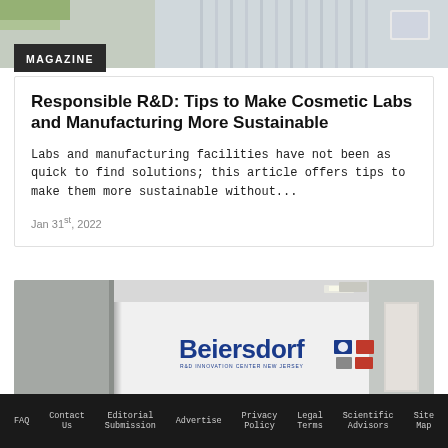[Figure (photo): Top portion of a lab or office interior with curtains/blinds and white walls]
MAGAZINE
Responsible R&D: Tips to Make Cosmetic Labs and Manufacturing More Sustainable
Labs and manufacturing facilities have not been as quick to find solutions; this article offers tips to make them more sustainable without...
Jan 31st, 2022
[Figure (photo): Interior of Beiersdorf R&D Innovation Center New Jersey with logo on white wall]
FAQ   Contact Us   Editorial Submission   Advertise   Privacy Policy   Legal Terms   Scientific Advisors   Site Map